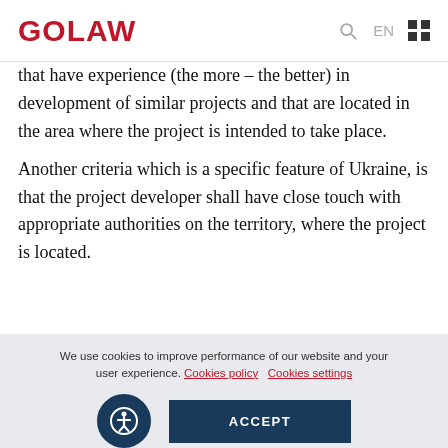GOLAW
that have experience (the more – the better) in development of similar projects and that are located in the area where the project is intended to take place.
Another criteria which is a specific feature of Ukraine, is that the project developer shall have close touch with appropriate authorities on the territory, where the project is located.
We use cookies to improve performance of our website and your user experience. Cookies policy   Cookies settings
ACCEPT